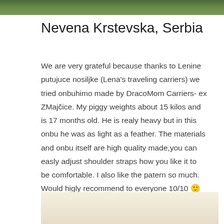[Figure (photo): Partial photo of outdoor scene with green foliage at top of page]
Nevena Krstevska, Serbia
We are very grateful because thanks to Lenine putujuce nosiljke (Lena's traveling carriers) we tried onbuhimo made by DracoMom Carriers- ex ZMajčice. My piggy weights about 15 kilos and is 17 months old. He is realy heavy but in this onbu he was as light as a feather. The materials and onbu itself are high quality made,you can easly adjust shoulder straps how you like it to be comfortable. I also like the patern so much. Would higly recommend to everyone 10/10 🙂
[Figure (photo): Partial photo showing a light-colored fabric or surface at bottom of page]